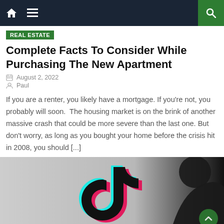Navigation bar with home, menu, and search icons
Real Estate
Complete Facts To Consider While Purchasing The New Apartment
August 2, 2022
Paul
If you are a renter, you likely have a mortgage. If you're not, you probably will soon.  The housing market is on the brink of another massive crash that could be more severe than the last one. But don't worry, as long as you bought your home before the crisis hit in 2008, you should [...]
[Figure (photo): TikTok logo (cyan and red musical note icon with black background/silhouette) on a light gray background, with a green scroll-to-top button overlay in the bottom right corner.]